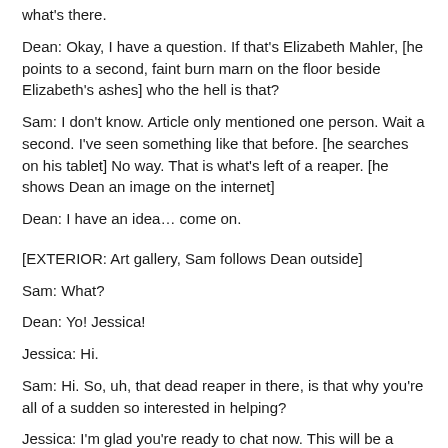what's there.
Dean: Okay, I have a question. If that's Elizabeth Mahler, [he points to a second, faint burn marn on the floor beside Elizabeth's ashes] who the hell is that?
Sam: I don't know. Article only mentioned one person. Wait a second. I've seen something like that before. [he searches on his tablet] No way. That is what's left of a reaper. [he shows Dean an image on the internet]
Dean: I have an idea… come on.
[EXTERIOR: Art gallery, Sam follows Dean outside]
Sam: What?
Dean: Yo! Jessica!
Jessica: Hi.
Sam: Hi. So, uh, that dead reaper in there, is that why you're all of a sudden so interested in helping?
Jessica: I'm glad you're ready to chat now. This will be a positive